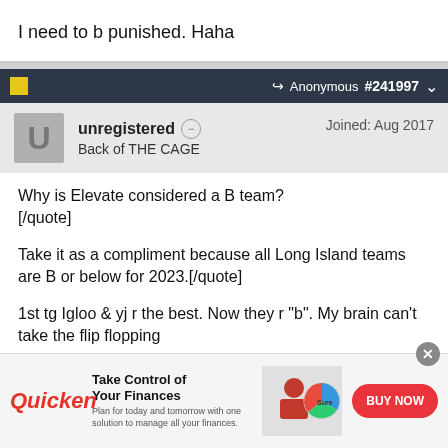I need to b punished. Haha
Anonymous #241997
unregistered
Back of THE CAGE
Joined: Aug 2017
Why is Elevate considered a B team?
[/quote]

Take it as a compliment because all Long Island teams are B or below for 2023.[/quote]

1st tg Igloo & yj r the best. Now they r "b". My brain can't take the flip flopping
[Figure (screenshot): Quicken advertisement banner: Take Control of Your Finances. Plan for today and tomorrow with one solution to manage all your finances. BUY NOW button.]